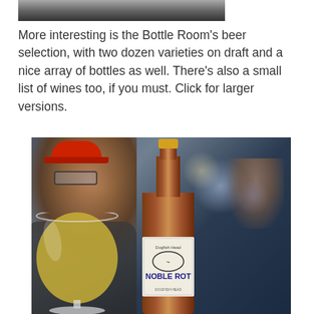[Figure (photo): Partial top photo of a person, cropped, showing dark background]
More interesting is the Bottle Room's beer selection, with two dozen varieties on draft and a nice array of bottles as well. There's also a small list of wines too, if you must. Click for larger versions.
[Figure (photo): Photo of a Dogfish Head Noble Rot beer bottle next to a wine glass filled with golden liquid, in a dimly lit bar setting with a person wearing a red cap visible in the background]